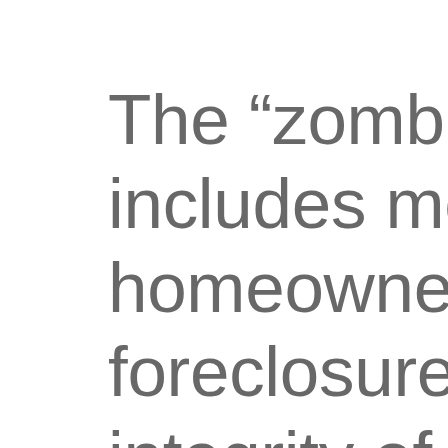The “zombie pr… includes measu… homeowners fa… foreclosure, im… integrity of the…